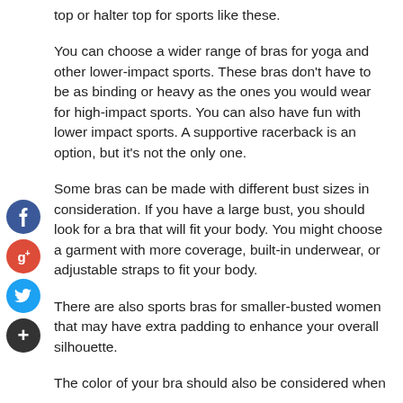top or halter top for sports like these.
You can choose a wider range of bras for yoga and other lower-impact sports. These bras don't have to be as binding or heavy as the ones you would wear for high-impact sports. You can also have fun with lower impact sports. A supportive racerback is an option, but it's not the only one.
Some bras can be made with different bust sizes in consideration. If you have a large bust, you should look for a bra that will fit your body. You might choose a garment with more coverage, built-in underwear, or adjustable straps to fit your body.
There are also sports bras for smaller-busted women that may have extra padding to enhance your overall silhouette.
The color of your bra should also be considered when